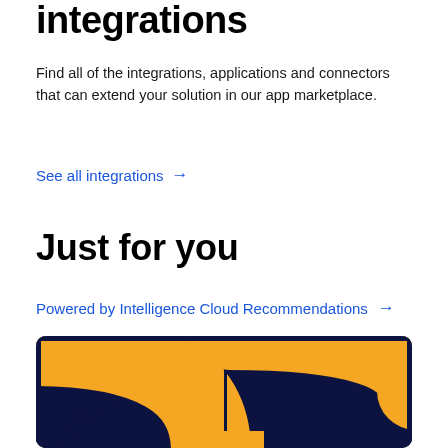integrations
Find all of the integrations, applications and connectors that can extend your solution in our app marketplace.
See all integrations →
Just for you
Powered by Intelligence Cloud Recommendations →
[Figure (illustration): Dark navy background with two large orange curved semicircle shapes arranged in a grid pattern, resembling quotation marks or stylized letter P shapes on a dark blue background.]